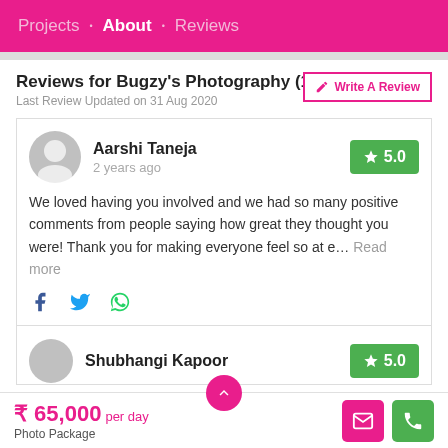Projects • About • Reviews
Reviews for Bugzy's Photography (19)
Last Review Updated on 31 Aug 2020
Write A Review
Aarshi Taneja
2 years ago
5.0
We loved having you involved and we had so many positive comments from people saying how great they thought you were! Thank you for making everyone feel so at e... Read more
Shubhangi Kapoor
5.0
₹ 65,000 per day
Photo Package